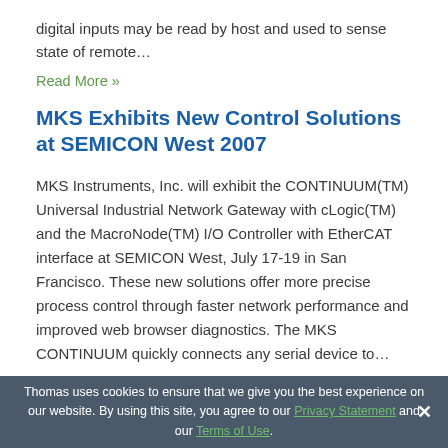digital inputs may be read by host and used to sense state of remote…
Read More »
MKS Exhibits New Control Solutions at SEMICON West 2007
MKS Instruments, Inc. will exhibit the CONTINUUM(TM) Universal Industrial Network Gateway with cLogic(TM) and the MacroNode(TM) I/O Controller with EtherCAT interface at SEMICON West, July 17-19 in San Francisco. These new solutions offer more precise process control through faster network performance and improved web browser diagnostics. The MKS CONTINUUM quickly connects any serial device to…
Thomas uses cookies to ensure that we give you the best experience on our website. By using this site, you agree to our Privacy Statement and our Terms of Use.